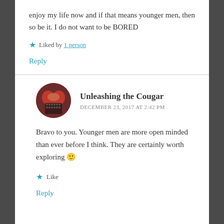enjoy my life now and if that means younger men, then so be it. I do not want to be BORED
Liked by 1 person
Reply
Unleashing the Cougar
DECEMBER 23, 2017 AT 2:42 PM
Bravo to you. Younger men are more open minded than ever before I think. They are certainly worth exploring 🙂
Like
Reply